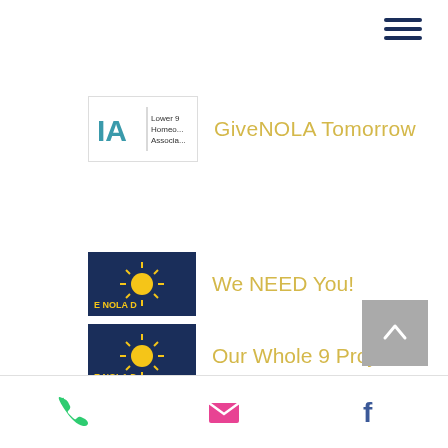[Figure (other): Hamburger menu icon (3 horizontal dark blue lines) in top right corner]
[Figure (logo): Lower 9th Ward Homeowners Association logo with 'IA' letters in teal and text]
GiveNOLA Tomorrow
[Figure (logo): GiveNOLA Day logo - dark navy background with yellow sun and text 'E NOLA D']
We NEED You!
[Figure (logo): GiveNOLA Day logo - dark navy background with yellow sun and text 'E NOLA D']
Our Whole 9 Project
[Figure (photo): Partially visible photo thumbnail at bottom of page]
The Whole 9...
[Figure (other): Back to top arrow button - grey square with upward chevron]
Phone | Email | Facebook icons navigation bar